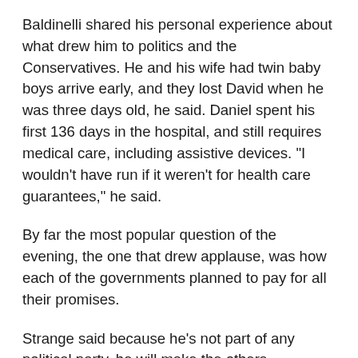Baldinelli shared his personal experience about what drew him to politics and the Conservatives. He and his wife had twin baby boys arrive early, and they lost David when he was three days old, he said. Daniel spent his first 136 days in the hospital, and still requires medical care, including assistive devices. "I wouldn't have run if it weren't for health care guarantees," he said.
By far the most popular question of the evening, the one that drew applause, was how each of the governments planned to pay for all their promises.
Strange said because he's not part of any political party, he will make the others accountable. "I can keep the other politicians in check, and make sure their promises are kept. I'm the only one who can't get kicked out of caucus."